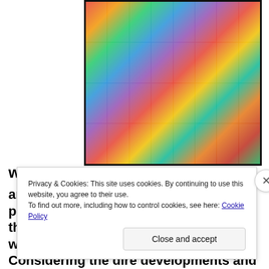[Figure (photo): Colorful collage image featuring many people, cultural icons, and pop culture imagery from the 1960s-80s, arranged in a grid-like photo mosaic with a dark border.]
were
among the most transformative, progressive, and revolutionary years in the history of the world…and it indeed was a worldwide phenomenon. Considering the dire developments and challenges being laid at our feet, as this book has been laying them out…and requiring as much social but personal change as
Privacy & Cookies: This site uses cookies. By continuing to use this website, you agree to their use.
To find out more, including how to control cookies, see here: Cookie Policy
Close and accept